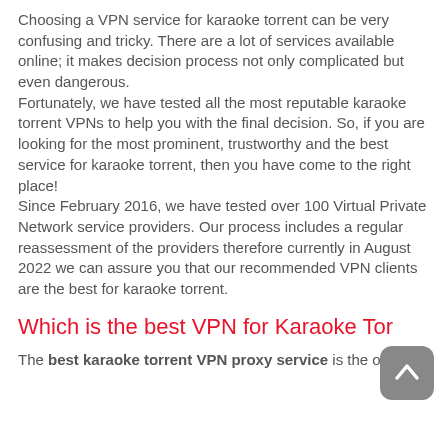Choosing a VPN service for karaoke torrent can be very confusing and tricky. There are a lot of services available online; it makes decision process not only complicated but even dangerous.
Fortunately, we have tested all the most reputable karaoke torrent VPNs to help you with the final decision. So, if you are looking for the most prominent, trustworthy and the best service for karaoke torrent, then you have come to the right place!
Since February 2016, we have tested over 100 Virtual Private Network service providers. Our process includes a regular reassessment of the providers therefore currently in August 2022 we can assure you that our recommended VPN clients are the best for karaoke torrent.
Which is the best VPN for Karaoke Tor…
The best karaoke torrent VPN proxy service is the one that